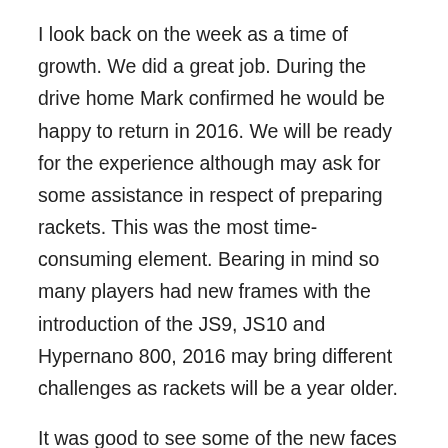I look back on the week as a time of growth. We did a great job. During the drive home Mark confirmed he would be happy to return in 2016. We will be ready for the experience although may ask for some assistance in respect of preparing rackets. This was the most time-consuming element. Bearing in mind so many players had new frames with the introduction of the JS9, JS10 and Hypernano 800, 2016 may bring different challenges as rackets will be a year older.
It was good to see some of the new faces emerging in world badminton. The Malaysian team are young, Korean team have a few new names, Hong Kong players are new to the All Englands. So